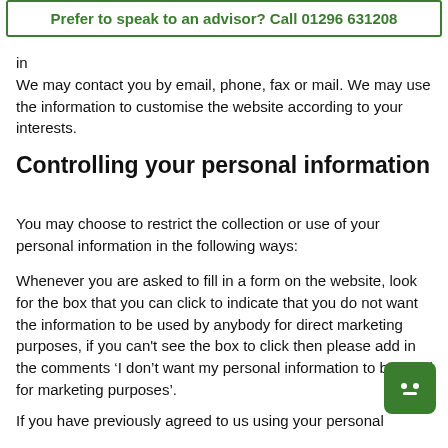Prefer to speak to an advisor? Call 01296 631208
in... We may contact you by email, phone, fax or mail. We may use the information to customise the website according to your interests.
Controlling your personal information
You may choose to restrict the collection or use of your personal information in the following ways:
Whenever you are asked to fill in a form on the website, look for the box that you can click to indicate that you do not want the information to be used by anybody for direct marketing purposes, if you can't see the box to click then please add in the comments ‘I don’t want my personal information to be used for marketing purposes’.
If you have previously agreed to us using your personal